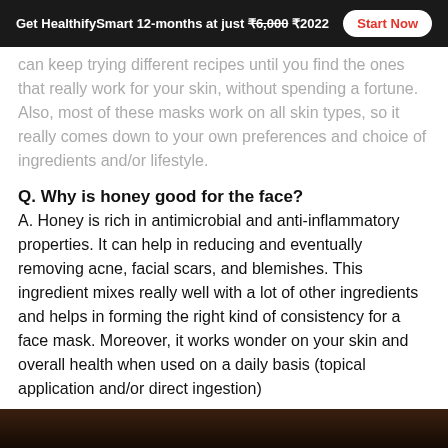Get HealthifySmart 12-months at just ₹6,000 ₹2022  Start Now
can keep trying different recipes until you find the ones that really work for your skin, without spending a fortune. Also, most of these masks work on all skin types, so it really comes down to your own preferences and choice of ingredients and/or lifestyle.
Q. Why is honey good for the face?
A. Honey is rich in antimicrobial and anti-inflammatory properties. It can help in reducing and eventually removing acne, facial scars, and blemishes. This ingredient mixes really well with a lot of other ingredients and helps in forming the right kind of consistency for a face mask. Moreover, it works wonder on your skin and overall health when used on a daily basis (topical application and/or direct ingestion)
[Figure (photo): Dark background image at bottom of page, appears to be a food or ingredient photo]